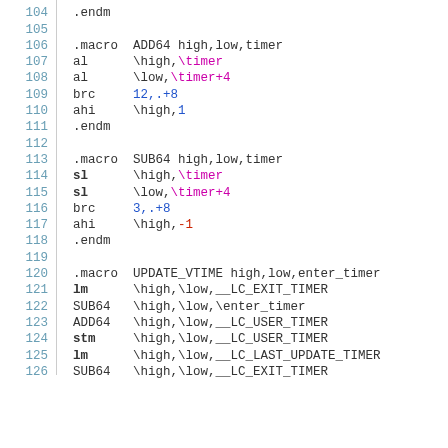104   .endm
105
106   .macro  ADD64 high,low,timer
107   al      \high,\timer
108   al      \low,\timer+4
109   brc     12,.+8
110   ahi     \high,1
111   .endm
112
113   .macro  SUB64 high,low,timer
114   sl      \high,\timer
115   sl      \low,\timer+4
116   brc     3,.+8
117   ahi     \high,-1
118   .endm
119
120   .macro  UPDATE_VTIME high,low,enter_timer
121   lm      \high,\low,__LC_EXIT_TIMER
122   SUB64   \high,\low,\enter_timer
123   ADD64   \high,\low,__LC_USER_TIMER
124   stm     \high,\low,__LC_USER_TIMER
125   lm      \high,\low,__LC_LAST_UPDATE_TIMER
126   SUB64   \high,\low,__LC_EXIT_TIMER